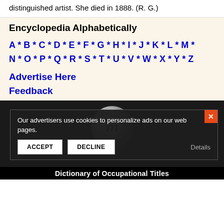distinguished artist. She died in 1888. (R. G.)
Encyclopedia Alphabetically
A * B * C * D * E * F * G * H * I * J * K * L * M * N * O * P * Q * R * S * T * U * V * W * X * Y * Z
Advertise Here
Feedback
[Figure (screenshot): Cookie consent modal overlay on a dark background showing a logo and 'Dictionary of Occupational Titles' text. Modal has text 'Our advertisers use cookies to personalize ads on our web pages.' with ACCEPT and DECLINE buttons and a Details link. An orange X close button is in the top right of the modal.]